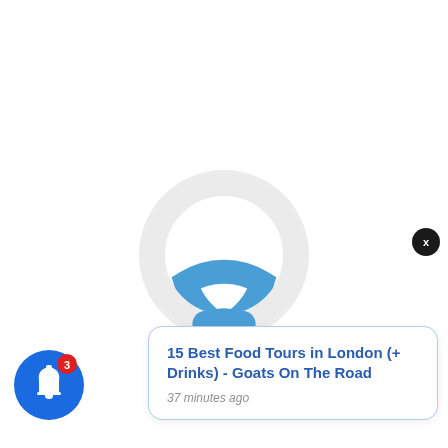[Figure (other): A circular loading spinner/progress indicator. Most of the ring is light gray, with a small blue arc segment at the bottom (roughly 6 o'clock position), indicating loading progress.]
[Figure (other): A notification bell icon: blue circular button with a white bell icon, red badge in upper-right showing the number 3.]
15 Best Food Tours in London (+ Drinks) - Goats On The Road
37 minutes ago